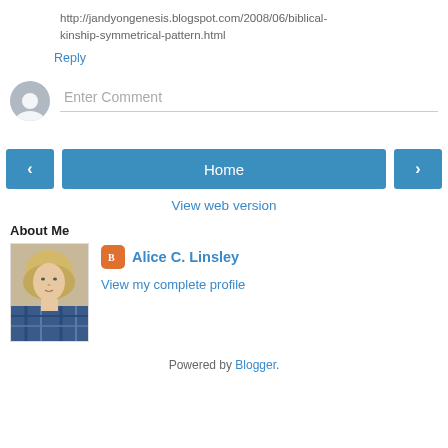http://jandyongenesis.blogspot.com/2008/06/biblical-kinship-symmetrical-pattern.html
Reply
Enter Comment
Home
View web version
About Me
Alice C. Linsley
View my complete profile
[Figure (photo): Profile photo of Alice C. Linsley, a woman with short blonde hair wearing a blue plaid shirt]
Powered by Blogger.